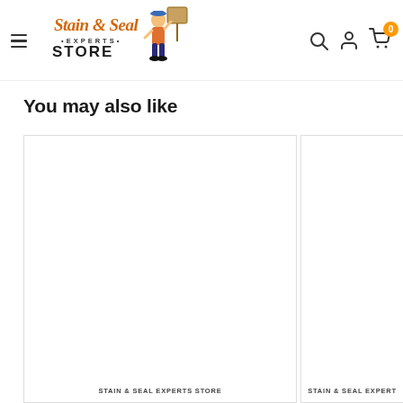Stain & Seal Experts Store — navigation header with hamburger menu, logo, search, account, and cart icons
You may also like
[Figure (screenshot): Product card left — blank white image area, label: STAIN & SEAL EXPERTS STORE]
[Figure (screenshot): Product card right (partially visible) — blank white image area, label: STAIN & SEAL EXPERTS STORE]